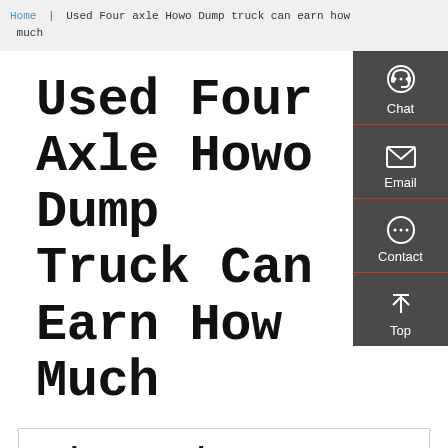Home | Used Four axle Howo Dump truck can earn how much
Used Four Axle Howo Dump Truck Can Earn How Much
Other Products
[Figure (infographic): Right sidebar with chat, email, contact, and top navigation icons on dark grey background]